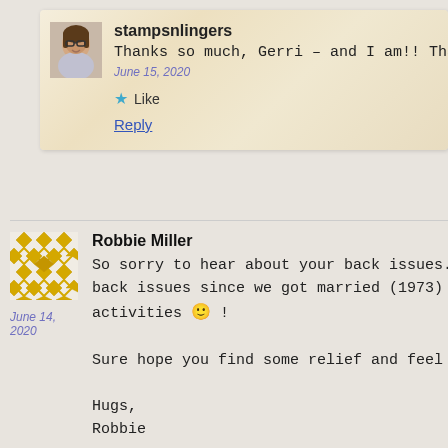[Figure (photo): Avatar photo of stampsnlingers - woman with glasses smiling]
stampsnlingers
Thanks so much, Gerri – and I am!! Tha
June 15, 2020
★ Like
Reply
[Figure (illustration): Geometric yellow diamond/cross pattern avatar for Robbie Miller]
Robbie Miller
So sorry to hear about your back issues. M back issues since we got married (1973) … a activities 🙂 !
Sure hope you find some relief and feel bet-

Hugs,
Robbie

PS: Your card is very sweet !
June 14, 2020